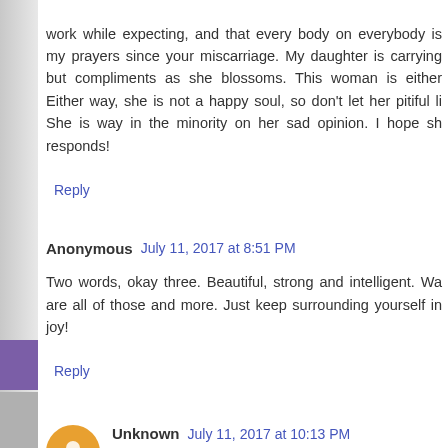work while expecting, and that every body on everybody is my prayers since your miscarriage. My daughter is carrying but compliments as she blossoms. This woman is either Either way, she is not a happy soul, so don't let her pitiful li She is way in the minority on her sad opinion. I hope sh responds!
Reply
Anonymous  July 11, 2017 at 8:51 PM
Two words, okay three. Beautiful, strong and intelligent. Wa are all of those and more. Just keep surrounding yourself in joy!
Reply
Unknown  July 11, 2017 at 10:13 PM
Some people nowadays just don't know when to keep qui anyone thinks, says, does or doesn't do.. you are stunning i celebrated by all women, young and old, and not beaten greatest miracle of your life. Creating the life inside of you w and greatest accomplishment of your life. This ignorant lad